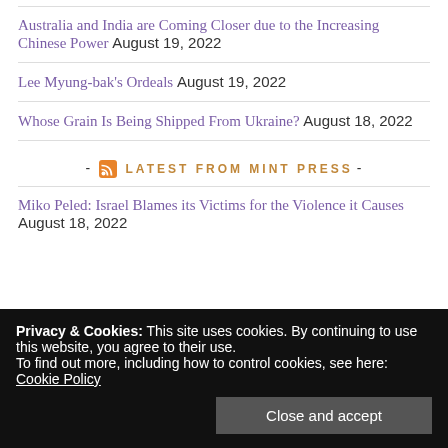Australia and India are Coming Closer due to the Increasing Chinese Power August 19, 2022
Lee Myung-bak's Ordeals August 19, 2022
Whose Grain Is Being Shipped From Ukraine? August 18, 2022
- RSS LATEST FROM MINT PRESS -
Miko Peled: Israel Blames its Victims for the Violence it Causes August 18, 2022
Privacy & Cookies: This site uses cookies. By continuing to use this website, you agree to their use.
To find out more, including how to control cookies, see here: Cookie Policy
Over a Far Bigger Threat to our Freedom August 16, 2022